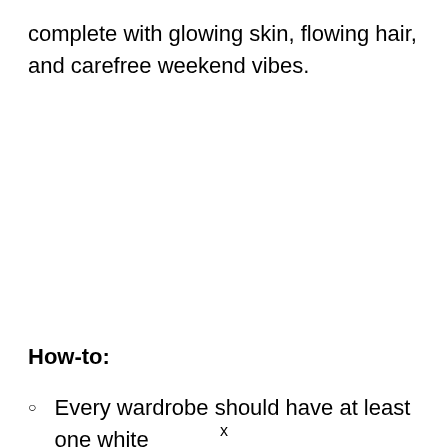complete with glowing skin, flowing hair, and carefree weekend vibes.
How-to:
Every wardrobe should have at least one white